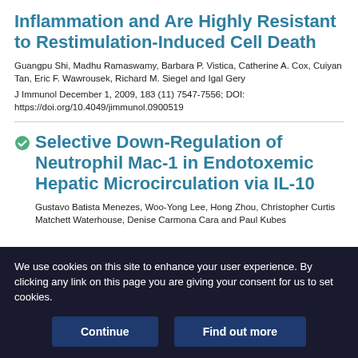Inflammation and Are Highly Resistant to Restimulation-Induced Cell Death
Guangpu Shi, Madhu Ramaswamy, Barbara P. Vistica, Catherine A. Cox, Cuiyan Tan, Eric F. Wawrousek, Richard M. Siegel and Igal Gery
J Immunol December 1, 2009, 183 (11) 7547-7556; DOI: https://doi.org/10.4049/jimmunol.0900519
Selective Down-Regulation of Neutrophil Mac-1 in Endotoxemic Hepatic Microcirculation via IL-10
Gustavo Batista Menezes, Woo-Yong Lee, Hong Zhou, Christopher Curtis Matchett Waterhouse, Denise Carmona Cara and Paul Kubes
We use cookies on this site to enhance your user experience. By clicking any link on this page you are giving your consent for us to set cookies.